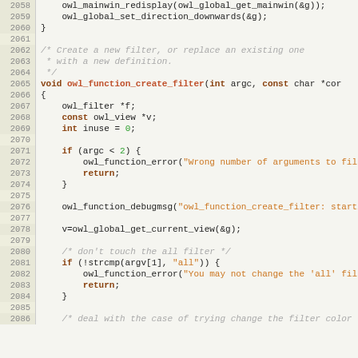[Figure (screenshot): Source code listing showing C code for owl_function_create_filter function, lines 2058-2086, with syntax highlighting in a code editor style view.]